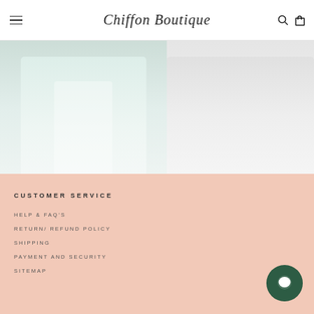Chiffon Boutique
[Figure (photo): Product image of Asilah Maxi in Emerald dress (light green/teal garment)]
[Figure (photo): Partial product image of Amber dress (light/cream garment, cropped)]
ASILAH MAXI – EMERALD
$109 NZD
AMBE
CUSTOMER SERVICE
HELP & FAQ'S
RETURN/ REFUND POLICY
SHIPPING
PAYMENT AND SECURITY
SITEMAP